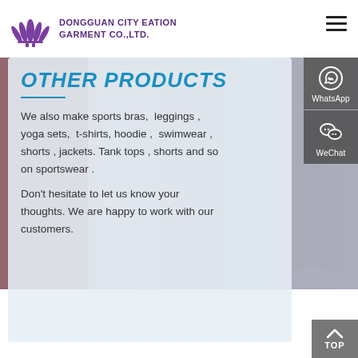DONGGUAN CITY EATION GARMENT CO.,LTD.
OTHER PRODUCTS
We also make sports bras, leggings , yoga sets, t-shirts, hoodie , swimwear , shorts , jackets. Tank tops , shorts and so on sportswear .
Don't hesitate to let us know your thoughts. We are happy to work with our customers.
[Figure (other): WhatsApp contact button on right sidebar]
[Figure (other): WeChat contact button on right sidebar]
[Figure (other): TOP scroll-to-top button at bottom right]